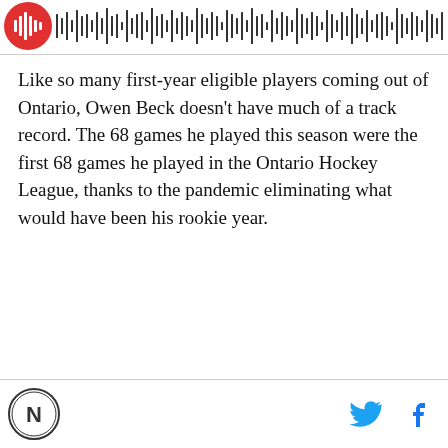[Figure (other): Podcast logo icon (red circle with white sound waves) and audio waveform/progress bar]
Like so many first-year eligible players coming out of Ontario, Owen Beck doesn't have much of a track record. The 68 games he played this season were the first 68 games he played in the Ontario Hockey League, thanks to the pandemic eliminating what would have been his rookie year.
Site logo and social media icons (Twitter, Facebook)